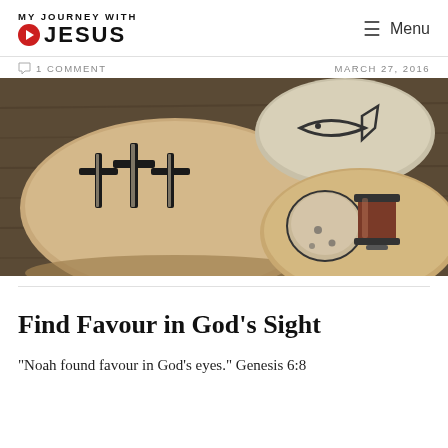MY JOURNEY WITH JESUS   Menu
1 COMMENT   MARCH 27, 2016
[Figure (photo): Three smooth stones with painted Christian symbols: three crosses on the left stone, a fish on the upper right stone, and a communion bread and cup on the lower right stone, placed on a wooden surface.]
Find Favour in God's Sight
“Noah found favour in God’s eyes.” Genesis 6:8